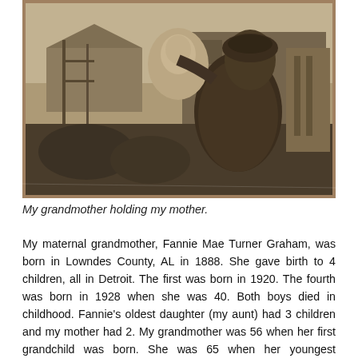[Figure (photo): A vintage black-and-white photograph showing a woman (grandmother) holding a baby (mother) outdoors, with wooden structures and buildings in the background. The photo has the aged, sepia-toned appearance of an early 20th century image.]
My grandmother holding my mother.
My maternal grandmother, Fannie Mae Turner Graham, was born in Lowndes County, AL in 1888. She gave birth to 4 children, all in Detroit. The first was born in 1920. The fourth was born in 1928 when she was 40. Both boys died in childhood. Fannie's oldest daughter (my aunt) had 3 children and my mother had 2. My grandmother was 56 when her first grandchild was born. She was 65 when her youngest grandchild was born. Fannie Mae had four